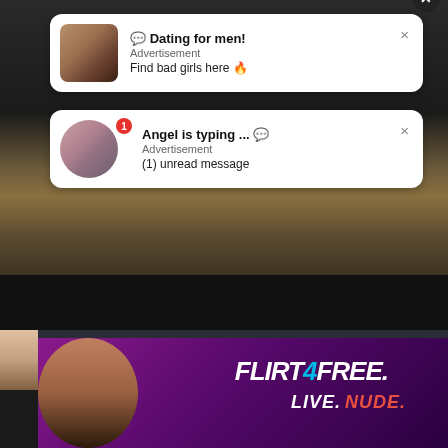[Figure (screenshot): Video player background showing dark/earth tones scene]
💬 Dating for men!
Advertisement
Find bad girls here 🔥
Angel is typing ... 💬
Advertisement
(1) unread message
SLEEPING FUCKING MY MOM
👁 0
🕐 10:43
[Figure (advertisement): FLIRT4FREE LIVE. NUDE. banner advertisement with woman photo]